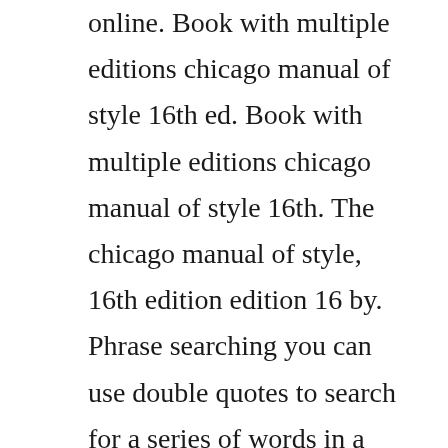online. Book with multiple editions chicago manual of style 16th ed. Book with multiple editions chicago manual of style 16th. The chicago manual of style, 16th edition edition 16 by. Phrase searching you can use double quotes to search for a series of words in a particular order. Here we include some instructions which can complete your understanding of the sense of these articles and the hints as for the implied demand hidden in any requirement listed in. The examples on this page are in the authordate system. One of its most valuable teachings